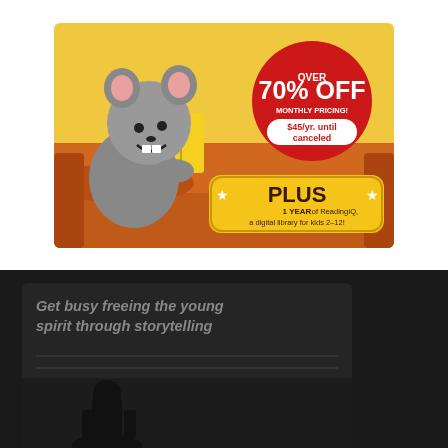[Figure (illustration): Advertisement for ABCmouse showing a cartoon mouse character reading a book on an orange sofa. A red circular badge reads 'OVER 70% OFF MONTHLY PRICING! $45/yr. until canceled'. A yellow banner reads '★ PLUS ★ 1 YEAR of ReadingIQ, a digital library for kids 2-12!']
[Figure (screenshot): Dark-themed banner with text 'Get busy freeing the young spirit through storytelling' overlaid on a dark background, with partial view of what appears to be a website or app interface with a figure/character at the bottom.]